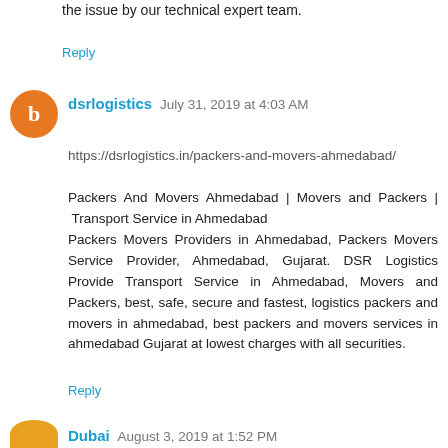the issue by our technical expert team.
Reply
dsrlogistics July 31, 2019 at 4:03 AM
https://dsrlogistics.in/packers-and-movers-ahmedabad/
Packers And Movers Ahmedabad | Movers and Packers | Transport Service in Ahmedabad
Packers Movers Providers in Ahmedabad, Packers Movers Service Provider, Ahmedabad, Gujarat. DSR Logistics Provide Transport Service in Ahmedabad, Movers and Packers, best, safe, secure and fastest, logistics packers and movers in ahmedabad, best packers and movers services in ahmedabad Gujarat at lowest charges with all securities.
Reply
Dubai August 3, 2019 at 1:52 PM